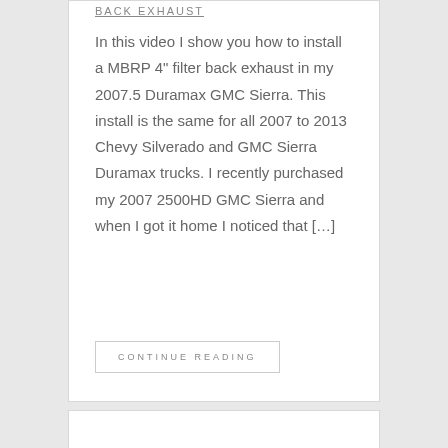BACK EXHAUST
In this video I show you how to install a MBRP 4" filter back exhaust in my 2007.5 Duramax GMC Sierra. This install is the same for all 2007 to 2013 Chevy Silverado and GMC Sierra Duramax trucks. I recently purchased my 2007 2500HD GMC Sierra and when I got it home I noticed that [...]
CONTINUE READING